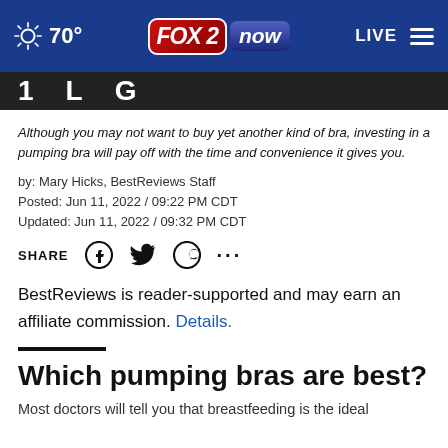FOX 2 now — 70° — LIVE
Although you may not want to buy yet another kind of bra, investing in a pumping bra will pay off with the time and convenience it gives you.
by: Mary Hicks, BestReviews Staff
Posted: Jun 11, 2022 / 09:22 PM CDT
Updated: Jun 11, 2022 / 09:32 PM CDT
SHARE
BestReviews is reader-supported and may earn an affiliate commission. Details.
Which pumping bras are best?